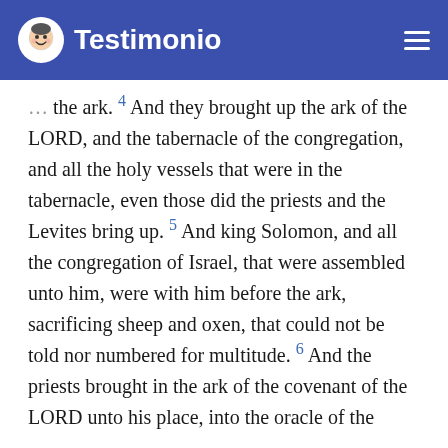Testimonio
the ark. 4 And they brought up the ark of the LORD, and the tabernacle of the congregation, and all the holy vessels that were in the tabernacle, even those did the priests and the Levites bring up. 5 And king Solomon, and all the congregation of Israel, that were assembled unto him, were with him before the ark, sacrificing sheep and oxen, that could not be told nor numbered for multitude. 6 And the priests brought in the ark of the covenant of the LORD unto his place, into the oracle of the